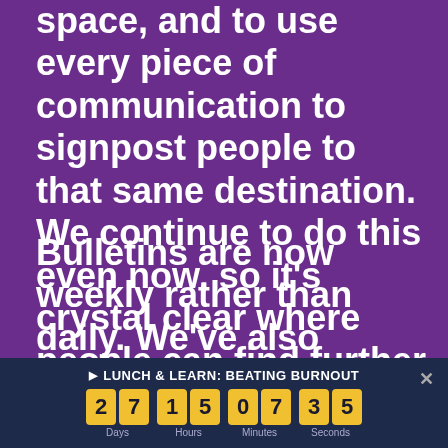space, and to use every piece of communication to signpost people to that same destination. We continue to do this even now, so it's crystal clear where people can find further details if they need them.
Bulletins are now weekly rather than daily. We've also changed some of the terminology we use as well so, instead of putting
[Figure (infographic): Countdown timer bar at the bottom showing 'LUNCH & LEARN: BEATING BURNOUT' with a countdown of 27 days, 15 hours, 07 minutes, 35 seconds displayed in yellow digit boxes on a dark navy background.]